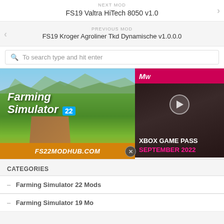NEXT MOD
FS19 Valtra HiTech 8050 v1.0
PREVIOUS MOD
FS19 Kroger Agroliner Tkd Dynamische v1.0.0.0
To search type and hit enter
[Figure (screenshot): Farming Simulator 22 banner ad from FS22MODHUB.COM showing a red tractor in a green farming landscape]
[Figure (screenshot): Xbox Game Pass September 2022 advertisement with MW logo and play button]
CATEGORIES
Farming Simulator 22 Mods
Farming Simulator 19 Mods